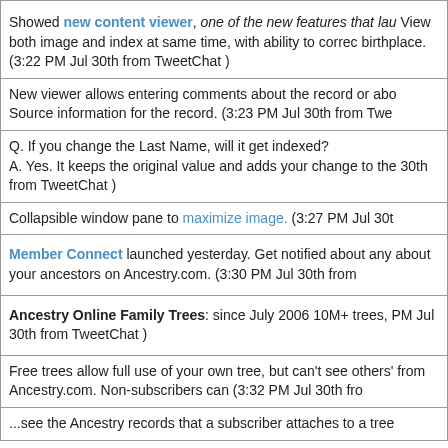Showed new content viewer, one of the new features that la... View both image and index at same time, with ability to correc... birthplace. (3:22 PM Jul 30th from TweetChat )
New viewer allows entering comments about the record or abo... Source information for the record. (3:23 PM Jul 30th from Twe...
Q. If you change the Last Name, will it get indexed? A. Yes. It keeps the original value and adds your change to the... 30th from TweetChat )
Collapsible window pane to maximize image. (3:27 PM Jul 30t...
Member Connect launched yesterday. Get notified about any... about your ancestors on Ancestry.com. (3:30 PM Jul 30th from...
Ancestry Online Family Trees: since July 2006 10M+ trees,... PM Jul 30th from TweetChat )
Free trees allow full use of your own tree, but can't see others'... from Ancestry.com. Non-subscribers can (3:32 PM Jul 30th fro...
...see the Ancestry records that a subscriber attaches to a tree...